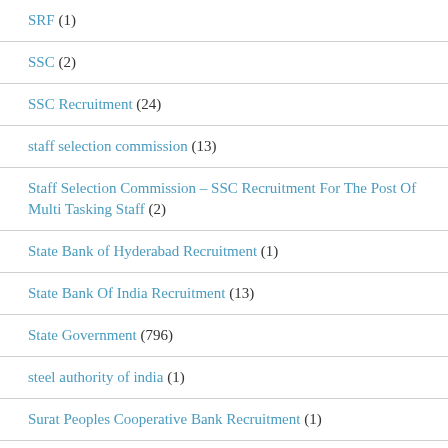SRF (1)
SSC (2)
SSC Recruitment (24)
staff selection commission (13)
Staff Selection Commission – SSC Recruitment For The Post Of Multi Tasking Staff (2)
State Bank of Hyderabad Recruitment (1)
State Bank Of India Recruitment (13)
State Government (796)
steel authority of india (1)
Surat Peoples Cooperative Bank Recruitment (1)
SVNIRTAR Recruitment (3)
SW Railway Recruitment (1)